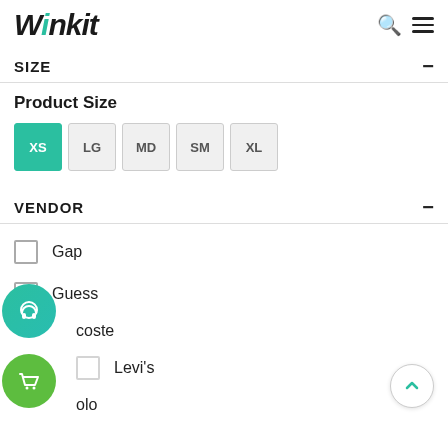winkit
SIZE
Product Size
XS (selected), LG, MD, SM, XL
VENDOR
Gap
Guess
Lacoste
Levi's
Polo